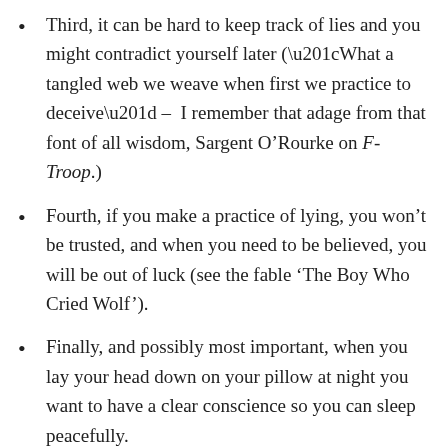Third, it can be hard to keep track of lies and you might contradict yourself later (“What a tangled web we weave when first we practice to deceive” – I remember that adage from that font of all wisdom, Sargent O’Rourke on F-Troop.)
Fourth, if you make a practice of lying, you won’t be trusted, and when you need to be believed, you will be out of luck (see the fable ‘The Boy Who Cried Wolf’).
Finally, and possibly most important, when you lay your head down on your pillow at night you want to have a clear conscience so you can sleep peacefully.